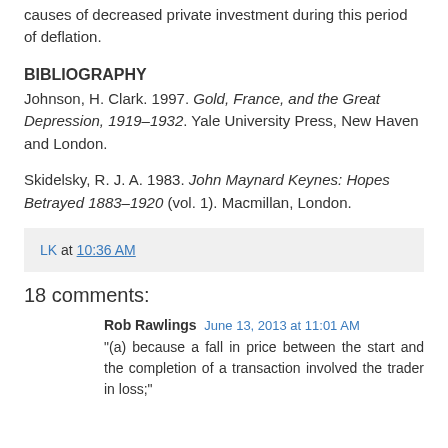causes of decreased private investment during this period of deflation.
BIBLIOGRAPHY
Johnson, H. Clark. 1997. Gold, France, and the Great Depression, 1919–1932. Yale University Press, New Haven and London.
Skidelsky, R. J. A. 1983. John Maynard Keynes: Hopes Betrayed 1883–1920 (vol. 1). Macmillan, London.
LK at 10:36 AM
18 comments:
Rob Rawlings  June 13, 2013 at 11:01 AM
"(a) because a fall in price between the start and the completion of a transaction involved the trader in loss;"